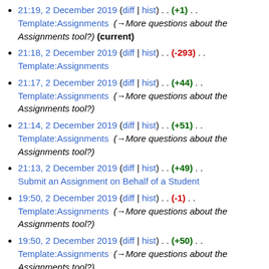21:19, 2 December 2019 (diff | hist) . . (+1) . . Template:Assignments (→More questions about the Assignments tool?) (current)
21:18, 2 December 2019 (diff | hist) . . (-293) . . Template:Assignments
21:17, 2 December 2019 (diff | hist) . . (+44) . . Template:Assignments (→More questions about the Assignments tool?)
21:14, 2 December 2019 (diff | hist) . . (+51) . . Template:Assignments (→More questions about the Assignments tool?)
21:13, 2 December 2019 (diff | hist) . . (+49) . . Submit an Assignment on Behalf of a Student
19:50, 2 December 2019 (diff | hist) . . (-1) . . Template:Assignments (→More questions about the Assignments tool?)
19:50, 2 December 2019 (diff | hist) . . (+50) . . Template:Assignments (→More questions about the Assignments tool?)
19:49, 2 December 2019 (diff | hist) . . (+1,321) . . N Submit an Assignment on Behalf of a Student (Created page with the text for the Assignments tool...)